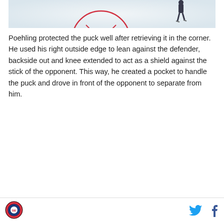[Figure (photo): Ice hockey rink surface viewed from above, showing the center circle with an X pattern and a puck, and a player (referee or skater) visible in the upper right portion of the image.]
Poehling protected the puck well after retrieving it in the corner. He used his right outside edge to lean against the defender, backside out and knee extended to act as a shield against the stick of the opponent. This way, he created a pocket to handle the puck and drove in front of the opponent to separate from him.
[Figure (logo): Circular sports media logo in red/blue/white with hockey imagery]